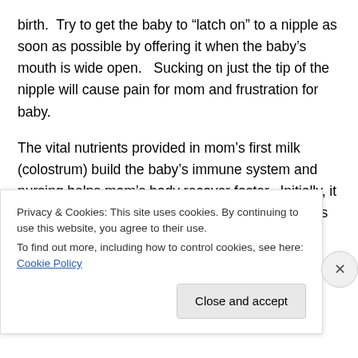birth.  Try to get the baby to “latch on” to a nipple as soon as possible by offering it when the baby’s mouth is wide open.   Sucking on just the tip of the nipple will cause pain for mom and frustration for baby.
The vital nutrients provided in mom’s first milk (colostrum) build the baby’s immune system and nursing helps mom’s body recover faster.  Initially, it may cause her some pain, but that usually passes within a few days.
Breastfeeding is especially critical in a “grid-down” (when...
Privacy & Cookies: This site uses cookies. By continuing to use this website, you agree to their use.
To find out more, including how to control cookies, see here: Cookie Policy